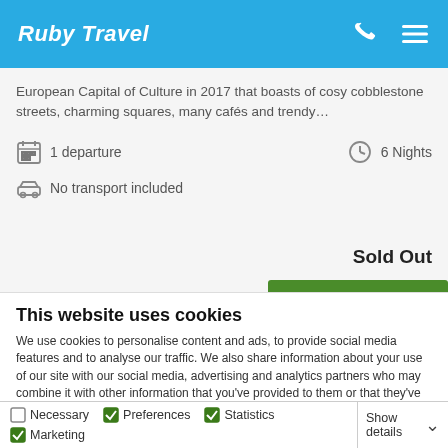Ruby Travel
European Capital of Culture in 2017 that boasts of cosy cobblestone streets, charming squares, many cafés and trendy…
1 departure   6 Nights   No transport included
Sold Out
This website uses cookies
We use cookies to personalise content and ads, to provide social media features and to analyse our traffic. We also share information about your use of our site with our social media, advertising and analytics partners who may combine it with other information that you've provided to them or that they've collected from your use of their services.
Deny   Allow selection   Allow all
Necessary   Preferences   Statistics   Marketing   Show details